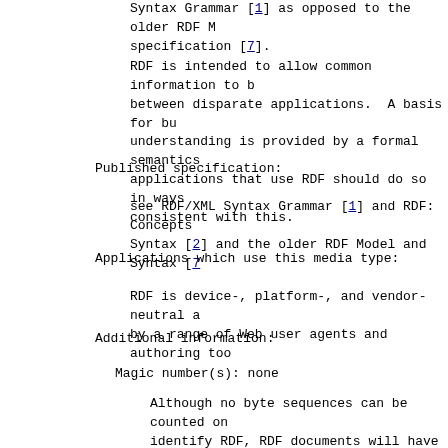Syntax Grammar [1] as opposed to the older RDF M specification [7].
RDF is intended to allow common information to be between disparate applications.  A basis for bu understanding is provided by a formal semantics applications that use RDF should do so in ways consistent with this.
Published specification:
see RDF/XML Syntax Grammar [1] and RDF: Concepts Syntax [2] and the older RDF Model and Syntax [
Applications which use this media type:
RDF is device-, platform-, and vendor-neutral a by a range of Web user agents and authoring too
Additional information:
Magic number(s): none
Although no byte sequences can be counted on identify RDF, RDF documents will have the se "http://www.w3.org/1999/02/22-rdf-syntax-ns#" the RDF namespace. This will usually be towa the document.
File extension(s): .rdf